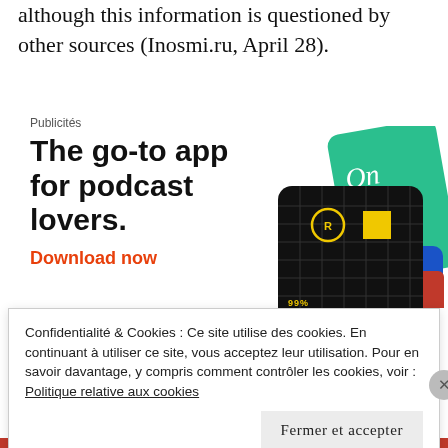although this information is questioned by other sources (Inosmi.ru, April 28).
[Figure (infographic): Advertisement for a podcast app. Label: 'Publicités'. Headline: 'The go-to app for podcast lovers.' Red link text: 'Download now'. Illustration shows podcast app cards including a dark card labeled '99% INVISIBLE' with yellow square logo, and a green card with cursive text 'On'.]
Confidentialité & Cookies : Ce site utilise des cookies. En continuant à utiliser ce site, vous acceptez leur utilisation. Pour en savoir davantage, y compris comment contrôler les cookies, voir : Politique relative aux cookies
Fermer et accepter